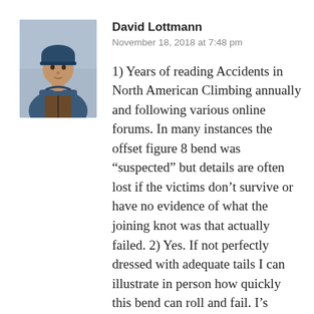[Figure (photo): Profile photo of David Lottmann, a person wearing a blue hooded jacket and beanie hat, outdoors in a cold/overcast setting]
David Lottmann
November 18, 2018 at 7:48 pm
1) Years of reading Accidents in North American Climbing annually and following various online forums. In many instances the offset figure 8 bend was “suspected” but details are often lost if the victims don’t survive or have no evidence of what the joining knot was that actually failed. 2) Yes. If not perfectly dressed with adequate tails I can illustrate in person how quickly this bend can roll and fail. I’s